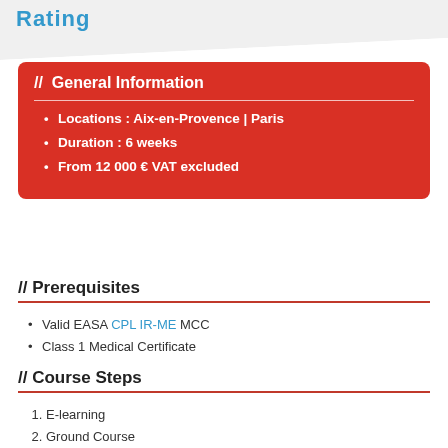Rating
// General Information
Locations : Aix-en-Provence | Paris
Duration : 6 weeks
From 12 000 € VAT excluded
// Prerequisites
Valid EASA CPL IR-ME MCC
Class 1 Medical Certificate
// Course Steps
1. E-learning
2. Ground Course